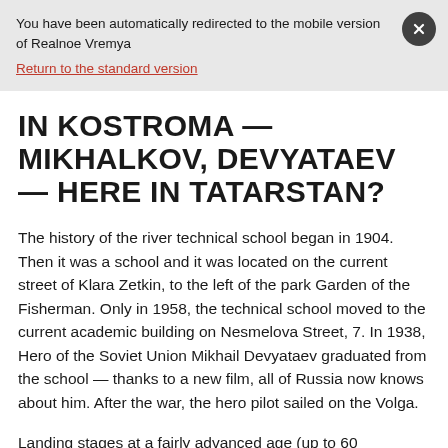You have been automatically redirected to the mobile version of Realnoe Vremya
Return to the standard version
IN KOSTROMA — MIKHALKOV, DEVYATAEV — HERE IN TATARSTAN?
The history of the river technical school began in 1904. Then it was a school and it was located on the current street of Klara Zetkin, to the left of the park Garden of the Fisherman. Only in 1958, the technical school moved to the current academic building on Nesmelova Street, 7. In 1938, Hero of the Soviet Union Mikhail Devyataev graduated from the school — thanks to a new film, all of Russia now knows about him. After the war, the hero pilot sailed on the Volga.
Landing stages at a fairly advanced age (up to 60 years) are used by Tatflot in Pechishchi, Tashevka, Klyuchishchi, Kyzy Bayrak, Matyushino, Sholang, Nizhny Uslon, Verkhny Uslon,